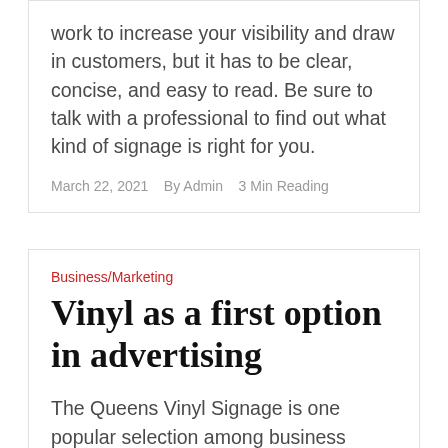work to increase your visibility and draw in customers, but it has to be clear, concise, and easy to read. Be sure to talk with a professional to find out what kind of signage is right for you.
March 22, 2021   By Admin   3 Min Reading
Business/Marketing
Vinyl as a first option in advertising
The Queens Vinyl Signage is one popular selection among business owners. This product can be customized according to your needs and specifications and it is an affordable option for businesses that do not have the budget to invest in